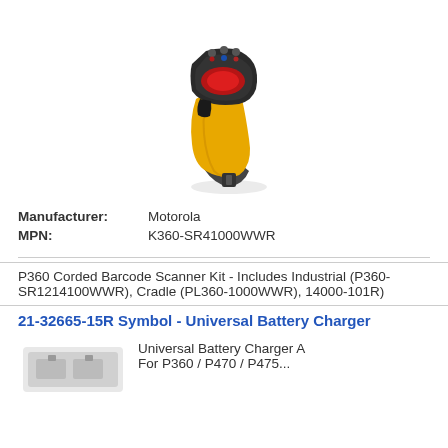[Figure (photo): Motorola/Symbol barcode scanner with yellow grip handle and black scanning head, shown at an angle on a stand]
| Manufacturer: | Motorola |
| MPN: | K360-SR41000WWR |
P360 Corded Barcode Scanner Kit - Includes Industrial (P360-SR1214100WWR), Cradle (PL360-1000WWR), 14000-101R)
21-32665-15R Symbol - Universal Battery Charger
[Figure (photo): Partial view of Universal Battery Charger product image (bottom of page, cut off)]
Universal Battery Charger A For P360 / P470 / P475...